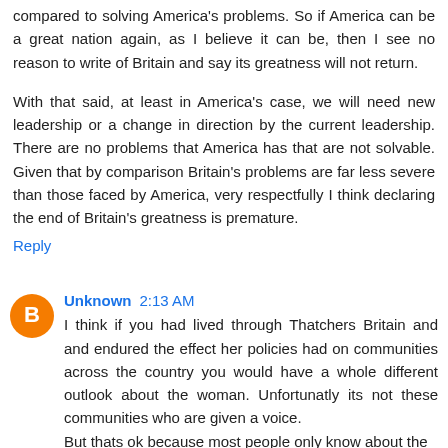compared to solving America's problems. So if America can be a great nation again, as I believe it can be, then I see no reason to write of Britain and say its greatness will not return.
With that said, at least in America's case, we will need new leadership or a change in direction by the current leadership. There are no problems that America has that are not solvable. Given that by comparison Britain's problems are far less severe than those faced by America, very respectfully I think declaring the end of Britain's greatness is premature.
Reply
Unknown 2:13 AM
I think if you had lived through Thatchers Britain and and endured the effect her policies had on communities across the country you would have a whole different outlook about the woman. Unfortunatly its not these communities who are given a voice.
But thats ok because most people only know about the